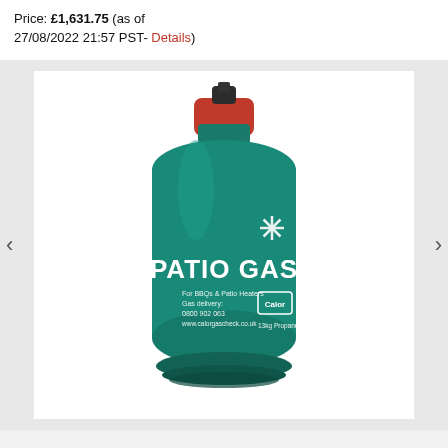Price: £1,631.75 (as of 27/08/2022 21:57 PST- Details)
[Figure (photo): Green Calor Patio Gas cylinder with red cap, labeled PATIO GAS, with text for BBQs & Patio Heaters, Gas delivery 0800 902 063, www.calorgascheck.co.uk, 13kg Propane]